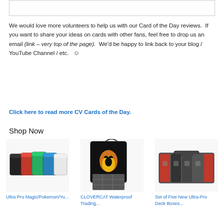[Figure (other): Empty white box with border at top of page]
We would love more volunteers to help us with our Card of the Day reviews.  If you want to share your ideas on cards with other fans, feel free to drop us an email (link – very top of the page).  We'd be happy to link back to your blog / YouTube Channel / etc.   ☺
Click here to read more CV Cards of the Day.
Shop Now
[Figure (photo): Ultra Pro deck boxes in multiple colors (black, red, green, blue, white)]
Ultra Pro Magic/Pokemon/Yu...
[Figure (photo): CLOVERCAT waterproof trading card binder with fire/phoenix graphic]
CLOVERCAT Waterproof Trading...
[Figure (photo): Set of five new Ultra-Pro deck boxes in a carry case]
Set of Five New Ultra-Pro Deck Boxes...